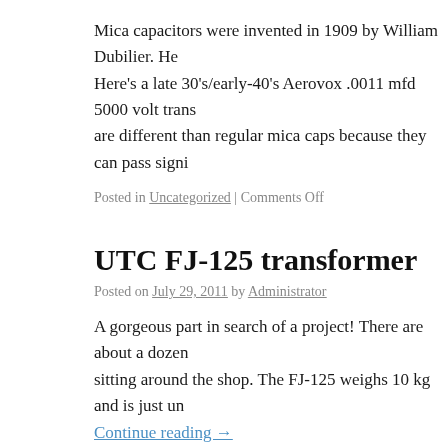Mica capacitors were invented in 1909 by William Dubilier. He Here's a late 30's/early-40's Aerovox .0011 mfd 5000 volt trans are different than regular mica caps because they can pass signi
Posted in Uncategorized | Comments Off
UTC FJ-125 transformer
Posted on July 29, 2011 by Administrator
A gorgeous part in search of a project! There are about a dozen sitting around the shop. The FJ-125 weighs 10 kg and is just un
Continue reading →
Posted in Uncategorized | Comments Off
Tung Sol's 7241 & 7242 monster triodes
Posted on July 27, 2011 by Administrator